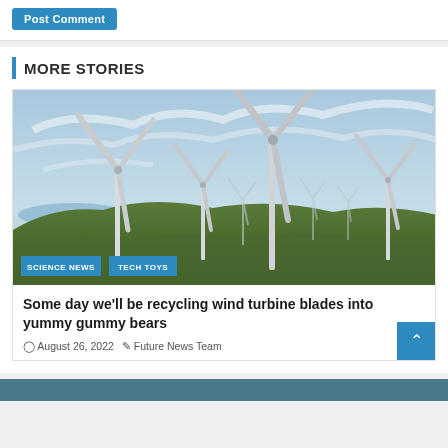Post Comment
MORE STORIES
[Figure (photo): A wind farm with multiple large wind turbines on a green hilly landscape under a blue cloudy sky, with a coastline visible in the background. Tags: SCIENCE NEWS, TECH TOYS]
Some day we’ll be recycling wind turbine blades into yummy gummy bears
◎ August 26, 2022   ✎ Future News Team